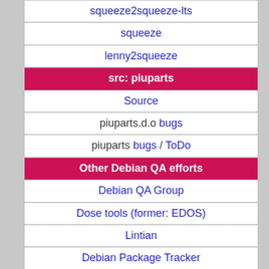squeeze2squeeze-lts
squeeze
lenny2squeeze
src: piuparts
Source
piuparts.d.o bugs
piuparts bugs / ToDo
Other Debian QA efforts
Debian QA Group
Dose tools (former: EDOS)
Lintian
Debian Package Tracker
Ultimate Debian Database
jenkins.debian.net
ci.debian.net